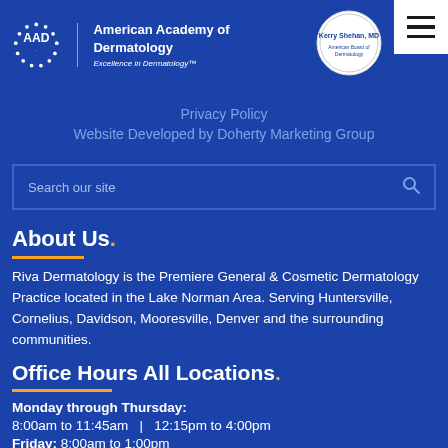[Figure (logo): AAD logo and Kerry Shehan MD badge in blue header with hamburger menu button]
Privacy Policy
Website Developed by Doherty Marketing Group
Search our site
About Us.
Riva Dermatology is the Premiere General & Cosmetic Dermatology Practice located in the Lake Norman Area. Serving Huntersville, Cornelius, Davidson, Mooresville, Denver and the surrounding communities.
Office Hours All Locations.
Monday through Thursday:
8:00am to 11:45am   |   12:15pm to 4:00pm
Friday: 8:00am to 1:00pm